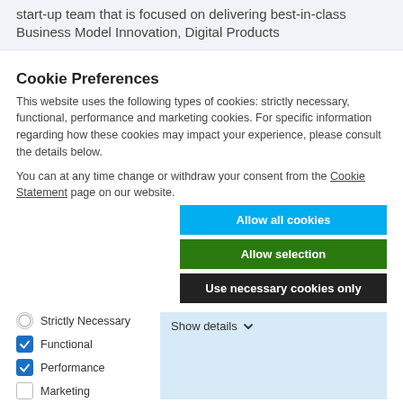start-up team that is focused on delivering best-in-class Business Model Innovation, Digital Products
Cookie Preferences
This website uses the following types of cookies: strictly necessary, functional, performance and marketing cookies. For specific information regarding how these cookies may impact your experience, please consult the details below.
You can at any time change or withdraw your consent from the Cookie Statement page on our website.
Allow all cookies
Allow selection
Use necessary cookies only
Strictly Necessary
Functional
Performance
Marketing
Show details